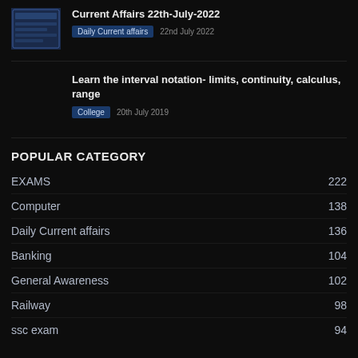Current Affairs 22th-July-2022
Daily Current affairs   22nd July 2022
Learn the interval notation- limits, continuity, calculus, range
College   20th July 2019
POPULAR CATEGORY
EXAMS   222
Computer   138
Daily Current affairs   136
Banking   104
General Awareness   102
Railway   98
ssc exam   94